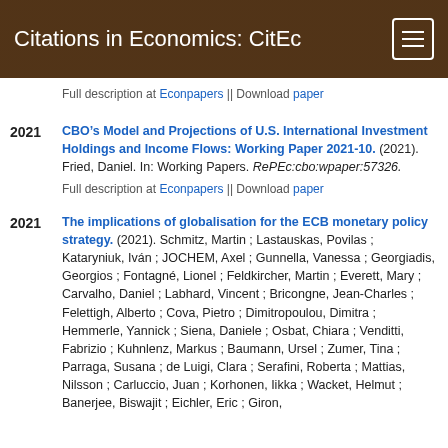Citations in Economics: CitEc
Full description at Econpapers || Download paper
CBO’s Model and Projections of U.S. International Investment Holdings and Income Flows: Working Paper 2021-10. (2021). Fried, Daniel. In: Working Papers. RePEc:cbo:wpaper:57326.
Full description at Econpapers || Download paper
The implications of globalisation for the ECB monetary policy strategy. (2021). Schmitz, Martin ; Lastauskas, Povilas ; Kataryniuk, Iván ; JOCHEM, Axel ; Gunnella, Vanessa ; Georgiadis, Georgios ; Fontagné, Lionel ; Feldkircher, Martin ; Everett, Mary ; Carvalho, Daniel ; Labhard, Vincent ; Bricongne, Jean-Charles ; Felettigh, Alberto ; Cova, Pietro ; Dimitropoulou, Dimitra ; Hemmerle, Yannick ; Siena, Daniele ; Osbat, Chiara ; Venditti, Fabrizio ; Kuhnlenz, Markus ; Baumann, Ursel ; Zumer, Tina ; Parraga, Susana ; de Luigi, Clara ; Serafini, Roberta ; Mattias, Nilsson ; Carluccio, Juan ; Korhonen, Iikka ; Wacket, Helmut ; Banerjee, Biswajit ; Eichler, Eric ; Giron,